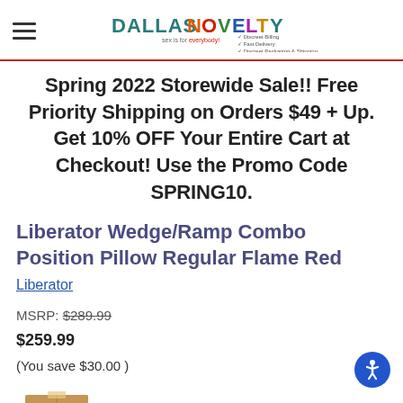Dallas Novelty — sex is for everybody! — Discreet Billing, Fast Delivery, Discreet Packaging & Shipping
Spring 2022 Storewide Sale!! Free Priority Shipping on Orders $49 + Up. Get 10% OFF Your Entire Cart at Checkout! Use the Promo Code SPRING10.
Liberator Wedge/Ramp Combo Position Pillow Regular Flame Red
Liberator
MSRP: $289.99
$259.99
(You save $30.00 )